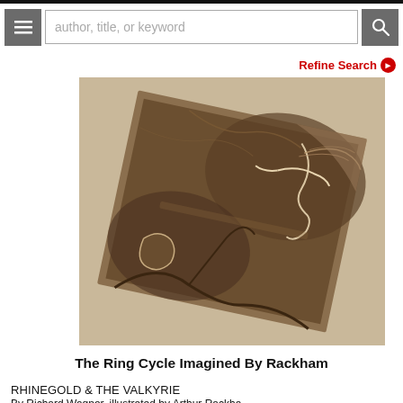author, title, or keyword
Refine Search ❯
[Figure (photo): A tilted antique illustration showing mythological figures — a person with flowing hair and outstretched limbs appearing to fly or fall, with dramatic swirling lines, against a tan/kraft paper background. The image is a book plate or print, rotated slightly clockwise.]
The Ring Cycle Imagined By Rackham
RHINEGOLD & THE VALKYRIE